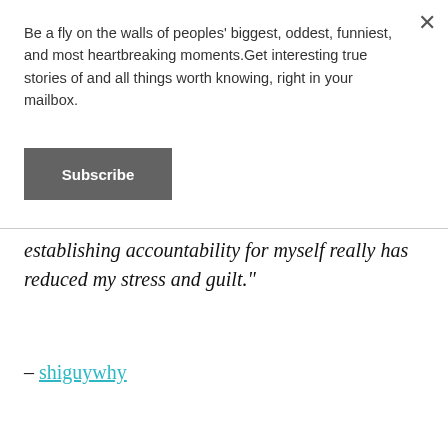Be a fly on the walls of peoples' biggest, oddest, funniest, and most heartbreaking moments.Get interesting true stories of and all things worth knowing, right in your mailbox.
Subscribe
establishing accountability for myself really has reduced my stress and guilt."
– shiguywhy